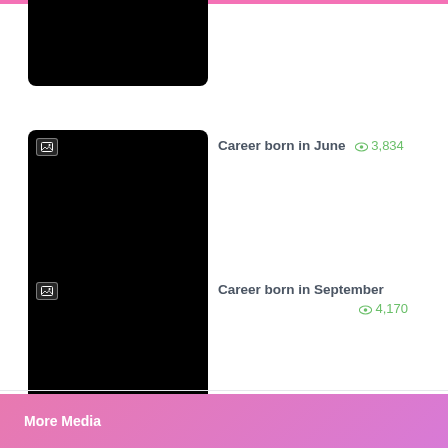[Figure (photo): Black thumbnail image, partially visible at top of page]
[Figure (photo): Black thumbnail image with image placeholder icon in top-left corner]
Career born in June  3,834
[Figure (photo): Black thumbnail image with image placeholder icon in top-left corner]
Career born in September  4,170
More Media